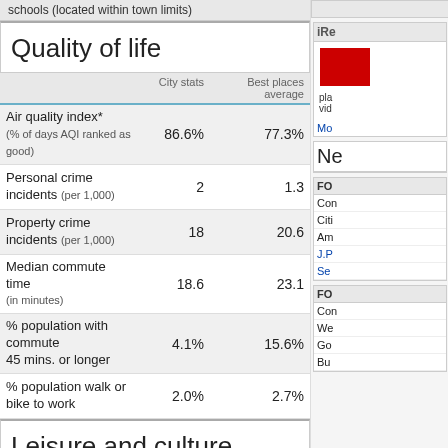schools (located within town limits)
Quality of life
|  | City stats | Best places average |
| --- | --- | --- |
| Air quality index* (% of days AQI ranked as good) | 86.6% | 77.3% |
| Personal crime incidents (per 1,000) | 2 | 1.3 |
| Property crime incidents (per 1,000) | 18 | 20.6 |
| Median commute time (in minutes) | 18.6 | 23.1 |
| % population with commute 45 mins. or longer | 4.1% | 15.6% |
| % population walk or bike to work | 2.0% | 2.7% |
Leisure and culture
|  | City stats | Best places average |
| --- | --- | --- |
| Movie theaters (within 15 miles) | 23 | 30 |
| Restaurants (within 15 miles) | 1,959 | 2,899 |
| Bars (within 15 miles) | 355 | 287 |
| Public golf courses (within 30 miles) | 67 | 125 |
| Libraries (within 15 miles) | 50 | 71 |